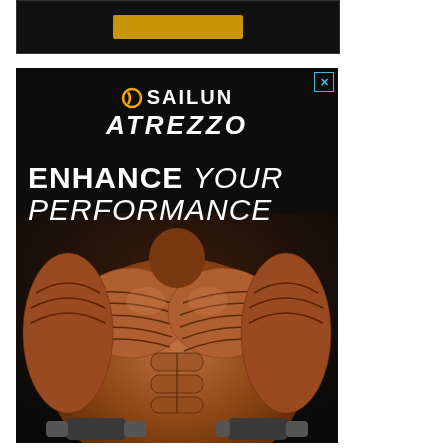[Figure (photo): Top dark advertisement banner with a golden/yellow button element centered on black background]
[Figure (photo): Sailun Atrezzo tire brand advertisement on black background. Features the Sailun Atrezzo logo at top, bold text reading 'ENHANCE YOUR PERFORMANCE', and a muscular bodybuilder with tire tread patterns on his skin lifting dumbbells. Close button (X) visible in top right corner.]